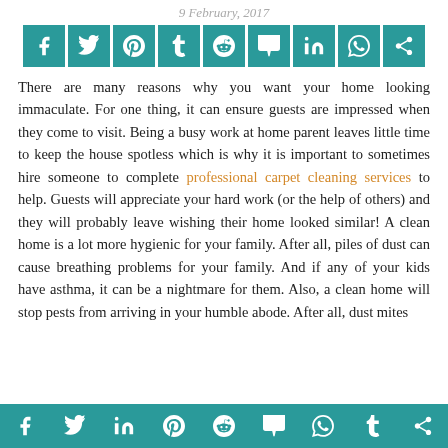9 February, 2017
[Figure (infographic): Social media sharing icons bar: Facebook, Twitter, Pinterest, Tumblr, Reddit, Mix, LinkedIn, WhatsApp, Share]
There are many reasons why you want your home looking immaculate. For one thing, it can ensure guests are impressed when they come to visit. Being a busy work at home parent leaves little time to keep the house spotless which is why it is important to sometimes hire someone to complete professional carpet cleaning services to help. Guests will appreciate your hard work (or the help of others) and they will probably leave wishing their home looked similar! A clean home is a lot more hygienic for your family. After all, piles of dust can cause breathing problems for your family. And if any of your kids have asthma, it can be a nightmare for them. Also, a clean home will stop pests from arriving in your humble abode. After all, dust mites
[Figure (infographic): Social media sharing icons bottom bar: Facebook, Twitter, LinkedIn, Pinterest, Reddit, Mix, WhatsApp, Tumblr, Share]